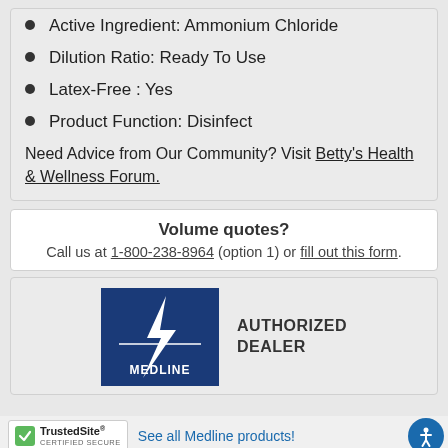Active Ingredient: Ammonium Chloride
Dilution Ratio: Ready To Use
Latex-Free : Yes
Product Function: Disinfect
Need Advice from Our Community? Visit Betty's Health & Wellness Forum.
Volume quotes?
Call us at 1-800-238-8964 (option 1) or fill out this form.
[Figure (logo): Medline Authorized Dealer logo — blue square with white lightning bolt/arrow and MEDLINE text, next to AUTHORIZED DEALER text]
See all Medline products!